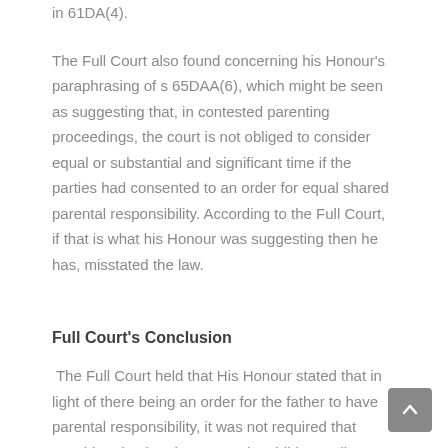in 61DA(4).
The Full Court also found concerning his Honour's paraphrasing of s 65DAA(6), which might be seen as suggesting that, in contested parenting proceedings, the court is not obliged to consider equal or substantial and significant time if the parties had consented to an order for equal shared parental responsibility. According to the Full Court, if that is what his Honour was suggesting then he has, misstated the law.
Full Court's Conclusion
The Full Court held that His Honour stated that in light of there being an order for the father to have parental responsibility, it was not required that consideration be given as to the child spending equal time or substantial and significant time with each of the parents. His Honour overlooked the